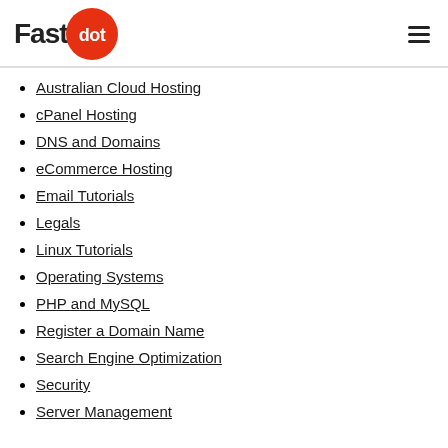Fastdot
Australian Cloud Hosting
cPanel Hosting
DNS and Domains
eCommerce Hosting
Email Tutorials
Legals
Linux Tutorials
Operating Systems
PHP and MySQL
Register a Domain Name
Search Engine Optimization
Security
Server Management